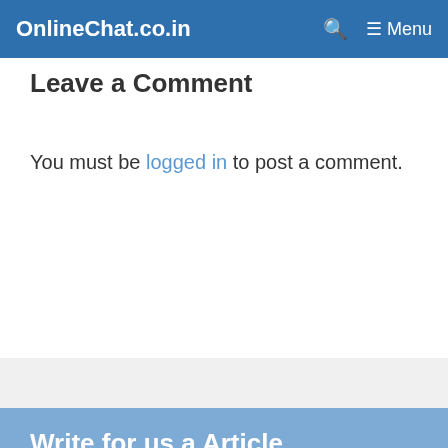OnlineChat.co.in  🔍  ≡ Menu
Leave a Comment
You must be logged in to post a comment.
Write for us a Article publication
Write for us, web chat script, android chat app, live chat software related to chat contents industry Technology News can be Published free of Cost, but it should be 100% Unique and Original Contents to be